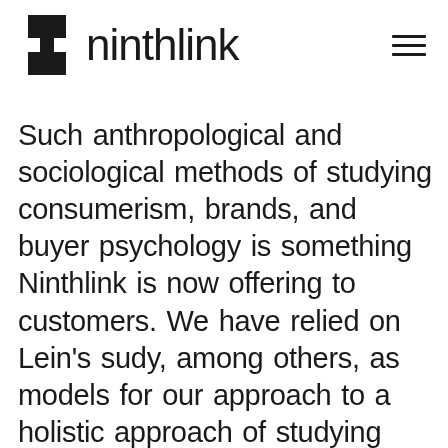ninthlink
Such anthropological and sociological methods of studying consumerism, brands, and buyer psychology is something Ninthlink is now offering to customers. We have relied on Lein’s sudy, among others, as models for our approach to a holistic approach of studying brand relevancy in the market. If you wish to understand more on how this works, Lein’s book is a must have.